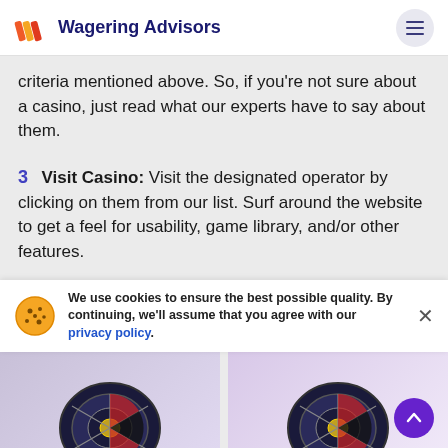Wagering Advisors
criteria mentioned above. So, if you're not sure about a casino, just read what our experts have to say about them.
3  Visit Casino: Visit the designated operator by clicking on them from our list. Surf around the website to get a feel for usability, game library, and/or other features.
4  Sign Up: Lastly, sign up, deposit, claim your deposit 5 play with 25 casino spins offer and start playing.
£5 DEPOSIT CASINO OFFERS
We use cookies to ensure the best possible quality. By continuing, we'll assume that you agree with our privacy policy.
[Figure (photo): Two roulette wheel images side by side at the bottom of the page]